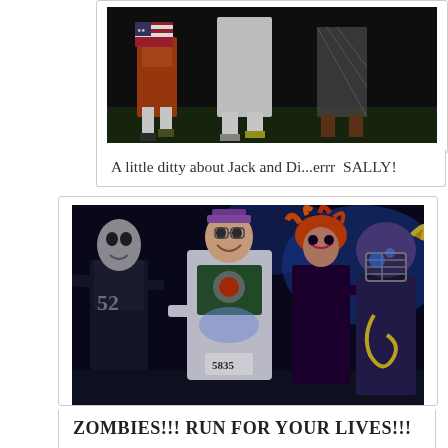[Figure (photo): Nighttime photo showing costumed people from the waist down — Halloween costumes including colorful pants, white knee socks, and a netted/sheer dress, standing on grass at night.]
A little ditty about Jack and Di...errr  SALLY!
[Figure (photo): Nighttime photo of a group of costumed people posing together: a zombie in football uniform (#52), a person dressed as Buzz Lightyear wearing bib number 5835, a person with wild orange-red hair and face paint, and a person in a Viking/football helmet with a yellow rope, all at a Halloween run event with blue lighting in background.]
ZOMBIES!!! RUN FOR YOUR LIVES!!!